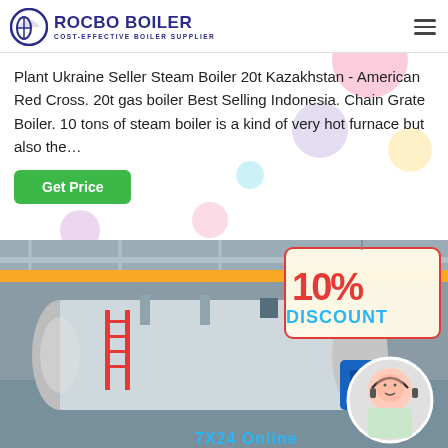[Figure (logo): Rocbo Boiler logo with circular icon and text 'ROCBO BOILER COST-EFFECTIVE BOILER SUPPLIER']
Plant Ukraine Seller Steam Boiler 20t Kazakhstan - American Red Cross. 20t gas boiler Best Selling Indonesia. Chain Grate Boiler. 10 tons of steam boiler is a kind of very hot furnace but also the…
[Figure (photo): Industrial boiler in factory setting with 10% discount banner and customer service representative, text '7X24 Online' at bottom]